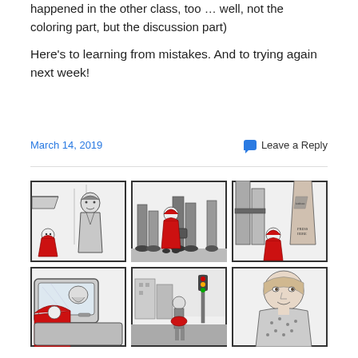happened in the other class, too … well, not the coloring part, but the discussion part)
Here's to learning from mistakes. And to trying again next week!
March 14, 2019
Leave a Reply
[Figure (illustration): A 2x3 grid of comic book style panels showing scenes with a child in a red hooded cape in a city setting. Top row: panel 1 shows a man and child with red cape at a street corner; panel 2 shows legs of adults walking with child in red cape among them; panel 3 shows child in red cape looking up at large adult figures. Bottom row: panel 4 shows a car interior with red cape visible; panel 5 shows a street scene with a figure in red; panel 6 shows a woman looking down.]